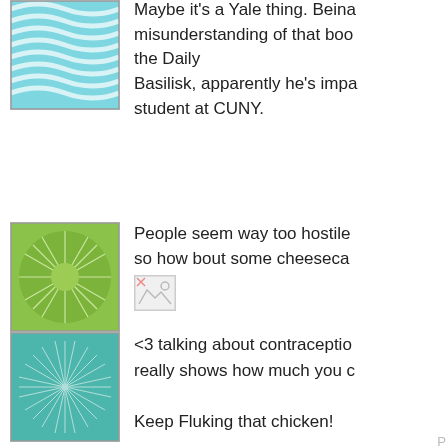[Figure (illustration): Blue wavy lines avatar image, square with border]
Maybe it's a Yale thing. Beina misunderstanding of that boo the Daily Basilisk, apparently he's impa student at CUNY.
[Figure (illustration): Green geometric star pattern avatar]
People seem way too hostile so how bout some cheeseca
[Figure (illustration): Small broken/missing image icon]
[Figure (illustration): Teal/cyan geometric star burst avatar]
<3 talking about contraceptio really shows how much you c

Keep Fluking that chicken!
P
[Figure (illustration): Pink/salmon geometric star burst avatar]
Pi Day! Cheesecake Pie. mm